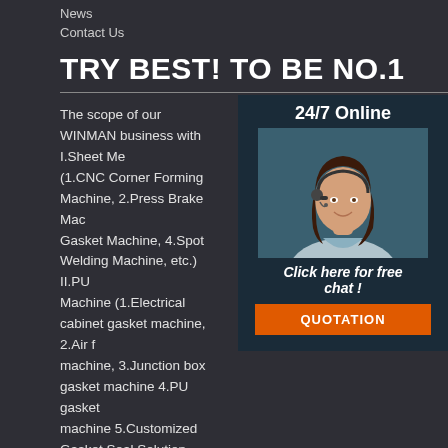News
Contact Us
TRY BEST! TO BE NO.1
The scope of our WINMAN business with I.Sheet Me (1.CNC Corner Forming Machine, 2.Press Brake Mac Gasket Machine, 4.Spot Welding Machine, etc.) II.PU Machine (1.Electrical cabinet gasket machine, 2.Air f machine, 3.Junction box gasket machine 4.PU gasket machine 5.Customized Gasket Seal Solution 6.Robot System, etc.
[Figure (photo): Customer service representative woman wearing headset smiling, with '24/7 Online' text above and 'Click here for free chat!' text below, and an orange QUOTATION button]
Sitemap | what s best transformer protection cover pu foam dispensing machine | guinea bulk supply electrical switchboard enclosure gasket making | guinea 50 discount air filter horizontal folding gluing making machine